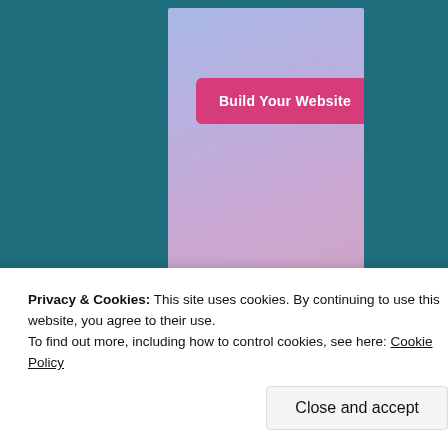[Figure (screenshot): WordPress.com advertisement banner with gradient blue-pink background, a 'Build Your Website' pink button, and WordPress.com logo at the bottom.]
REPORT THIS AD
Privacy & Cookies: This site uses cookies. By continuing to use this website, you agree to their use.
To find out more, including how to control cookies, see here: Cookie Policy
Close and accept